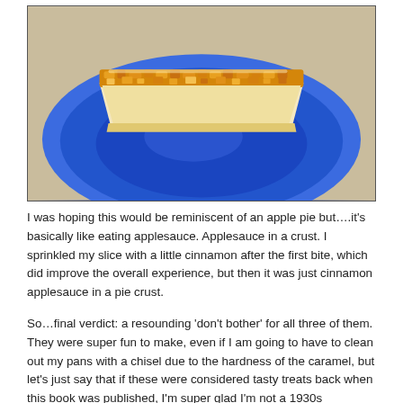[Figure (photo): A slice of pie with golden-brown crumb topping on a blue plate, photographed on a wooden table surface.]
I was hoping this would be reminiscent of an apple pie but….it's basically like eating applesauce. Applesauce in a crust. I sprinkled my slice with a little cinnamon after the first bite, which did improve the overall experience, but then it was just cinnamon applesauce in a pie crust.
So…final verdict: a resounding 'don't bother' for all three of them. They were super fun to make, even if I am going to have to clean out my pans with a chisel due to the hardness of the caramel, but let's just say that if these were considered tasty treats back when this book was published, I'm super glad I'm not a 1930s housewife.